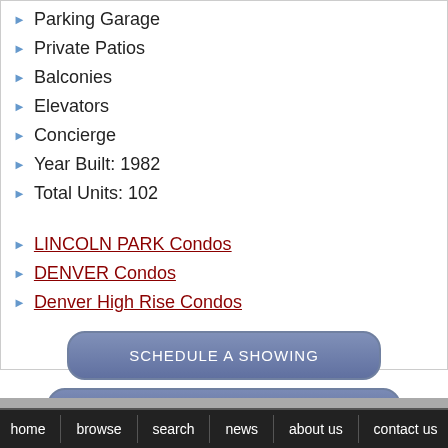Parking Garage
Private Patios
Balconies
Elevators
Concierge
Year Built: 1982
Total Units: 102
LINCOLN PARK Condos
DENVER Condos
Denver High Rise Condos
SCHEDULE A SHOWING
REQUEST MORE INFORMATION
home  browse  search  news  about us  contact us